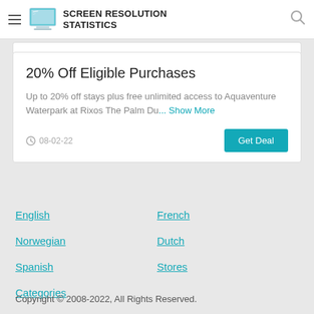SCREEN RESOLUTION STATISTICS
20% Off Eligible Purchases
Up to 20% off stays plus free unlimited access to Aquaventure Waterpark at Rixos The Palm Du… Show More
08-02-22
English
French
Norwegian
Dutch
Spanish
Stores
Categories
Copyright © 2008-2022, All Rights Reserved.